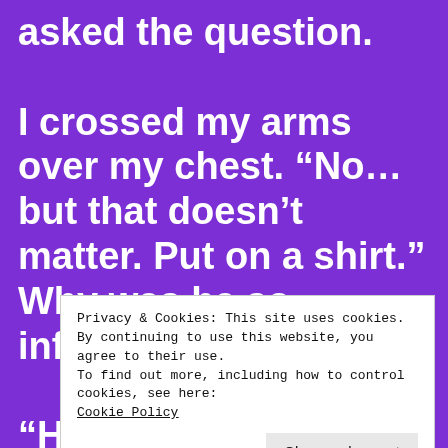asked the question.

I crossed my arms over my chest. “No… but that doesn’t matter. Put on a shirt.” Why was he so infuriating?

“How would you like it if I pranced a... b... p... s... was painting. Being pissed and horny clearly was a bad
Privacy & Cookies: This site uses cookies. By continuing to use this website, you agree to their use.
To find out more, including how to control cookies, see here: Cookie Policy